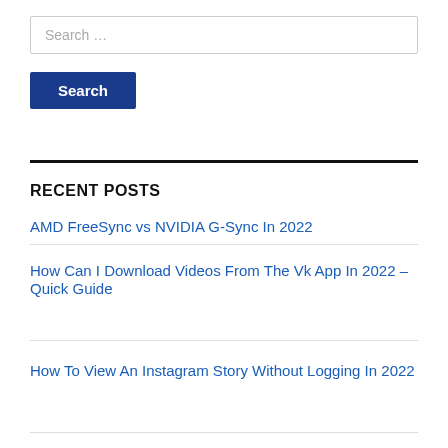Search …
Search
RECENT POSTS
AMD FreeSync vs NVIDIA G-Sync In 2022
How Can I Download Videos From The Vk App In 2022 – Quick Guide
How To View An Instagram Story Without Logging In 2022